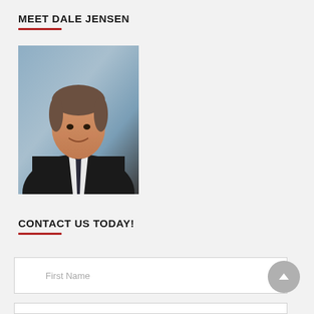MEET DALE JENSEN
[Figure (photo): Professional headshot of Dale Jensen, a middle-aged man in a black suit with a dark tie, smiling, against a grey/blue studio background]
CONTACT US TODAY!
First Name